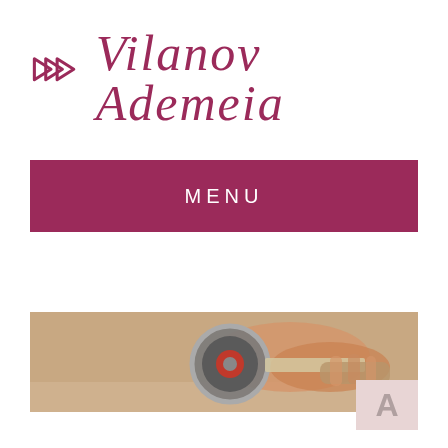Vilanov Ademeia
MENU
[Figure (photo): A hand using a tape dispenser/packing tape roller, close-up shot]
[Figure (logo): Watermark placeholder box with letter A]